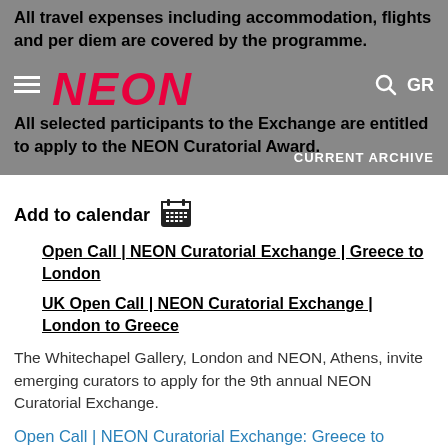All travel expenses including accommodation, flights and per diem are covered by the programme.
All selected participants to the Exchange are entitled to apply to the NEON Curatorial Award.
Add to calendar
Open Call | NEON Curatorial Exchange | Greece to London
UK Open Call | NEON Curatorial Exchange | London to Greece
The Whitechapel Gallery, London and NEON, Athens, invite emerging curators to apply for the 9th annual NEON Curatorial Exchange.
Open Call | NEON Curatorial Exchange: Greece to